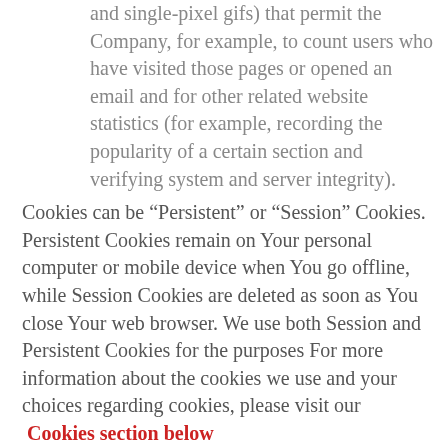and single-pixel gifs) that permit the Company, for example, to count users who have visited those pages or opened an email and for other related website statistics (for example, recording the popularity of a certain section and verifying system and server integrity).
Cookies can be “Persistent” or “Session” Cookies. Persistent Cookies remain on Your personal computer or mobile device when You go offline, while Session Cookies are deleted as soon as You close Your web browser. We use both Session and Persistent Cookies for the purposes For more information about the cookies we use and your choices regarding cookies, please visit our Cookies section below in our Privacy Policy